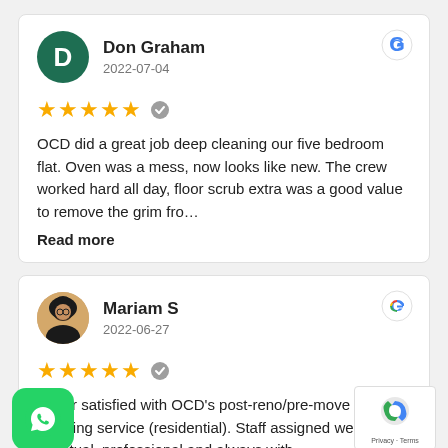Don Graham
2022-07-04
OCD did a great job deep cleaning our five bedroom flat. Oven was a mess, now looks like new. The crew worked hard all day, floor scrub extra was a good value to remove the grim fro…
Read more
Mariam S
2022-06-27
Super satisfied with OCD's post-reno/pre-move in cleaning service (residential). Staff assigned were punctual, professional and always with